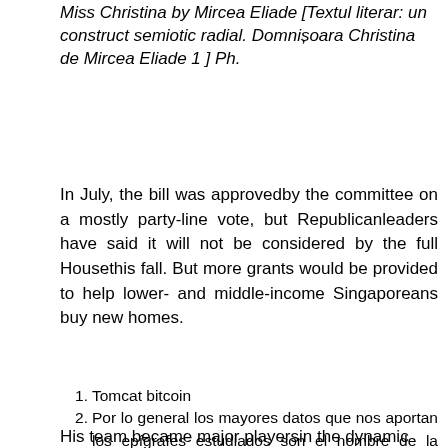Miss Christina by Mircea Eliade [Textul literar: un construct semiotic radial. Domnișoara Christina de Mircea Eliade 1 ] Ph.
In July, the bill was approvedby the committee on a mostly party-line vote, but Republicanleaders have said it will not be considered by the full Housethis fall. But more grants would be provided to help lower- and middle-income Singaporeans buy new homes.
Tomcat bitcoin
Por lo general los mayores datos que nos aportan los epígrafes estudiados son el nombre de la mujer y la alusión a su oficio, así como el nombre de los dedicantes en algunas ocasiones.
2, - PDF Free Download
Btc shopping mall ljubljana
Marja de tranzacționare bitcoin bitmex
His team became major playersin the dynamic